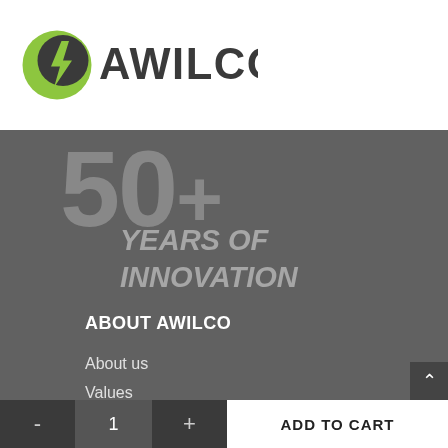[Figure (logo): Awilco logo: green circle with lightning bolt and bold dark text AWILCO]
[Figure (infographic): 50+ YEARS OF INNOVATION text displayed large on dark grey background]
ABOUT AWILCO
About us
Values
Vision-and-mission
History
Jobs
- 1 +  ADD TO CART